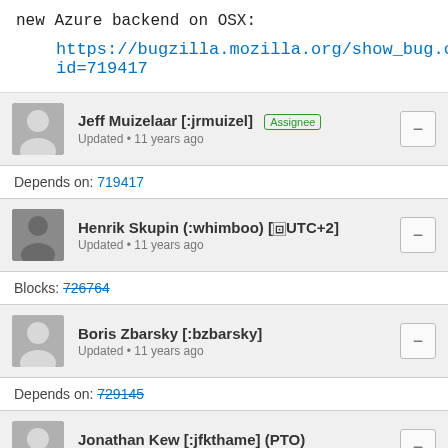new Azure backend on OSX:
https://bugzilla.mozilla.org/show_bug.cgi?id=719417
Jeff Muizelaar [:jrmuizel] Assignee
Updated • 11 years ago
Depends on: 719417
Henrik Skupin (:whimboo) [UTC+2]
Updated • 11 years ago
Blocks: 726764
Boris Zbarsky [:bzbarsky]
Updated • 11 years ago
Depends on: 729145
Jonathan Kew [:jfkthame] (PTO)
Updated • 11 years ago